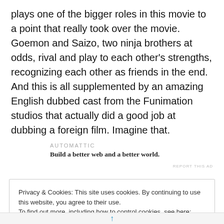plays one of the bigger roles in this movie to a point that really took over the movie. Goemon and Saizo, two ninja brothers at odds, rival and play to each other's strengths, recognizing each other as friends in the end. And this is all supplemented by an amazing English dubbed cast from the Funimation studios that actually did a good job at dubbing a foreign film. Imagine that.
[Figure (other): Automattic advertisement block with logo text 'AUTOMATTIC' and tagline 'Build a better web and a better world.']
REPORT THIS AD
Privacy & Cookies: This site uses cookies. By continuing to use this website, you agree to their use.
To find out more, including how to control cookies, see here: Cookie Policy